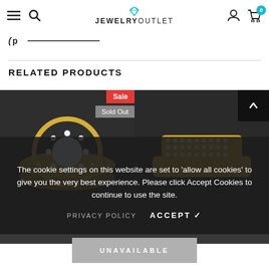JEWELRYOUTLET
(cropped/partial text from previous section)
RELATED PRODUCTS
[Figure (photo): Diamond halo engagement ring in yellow gold setting - marked Sale and Sold Out]
[Figure (photo): Diamond pave men's ring in yellow gold - marked Sale and Sold Out (partially visible)]
The cookie settings on this website are set to 'allow all cookies' to give you the very best experience. Please click Accept Cookies to continue to use the site.
PRIVACY POLICY   ACCEPT ✓
UNAVAILABLE